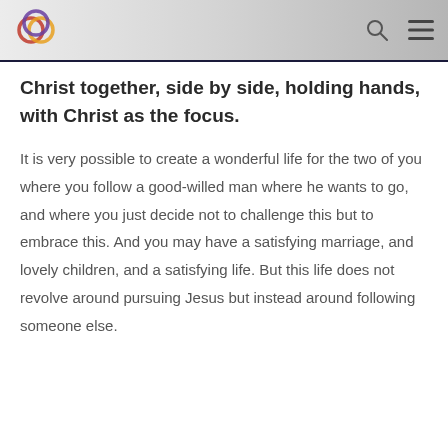[logo] [search icon] [menu icon]
Christ together, side by side, holding hands, with Christ as the focus.
It is very possible to create a wonderful life for the two of you where you follow a good-willed man where he wants to go, and where you just decide not to challenge this but to embrace this. And you may have a satisfying marriage, and lovely children, and a satisfying life. But this life does not revolve around pursuing Jesus but instead around following someone else.